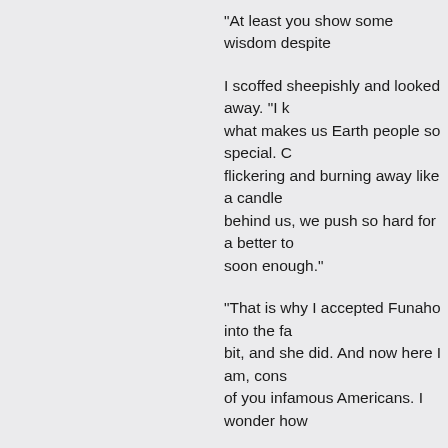“At least you show some wisdom despite…
I scoffed sheepishly and looked away. “I k… what makes us Earth people so special. C… flickering and burning away like a candle… behind us, we push so hard for a better to… soon enough.”
“That is why I accepted Funaho into the fa… bit, and she did. And now here I am, cons… of you infamous Americans. I wonder how…
I looked over at Seto and smiled. “Like th… ripples you make. But just you watch, Set… across your pond, making ripples wherev… control over my destiny.”
Seto looked absolutely delighted. “Do you… you put on.”
I chuckled at that. Seto anticipating my sh… look down at the seed once more and ge…
“She’ll be safe in there for the moment. A… involve the words ‘First Generation’?” h…